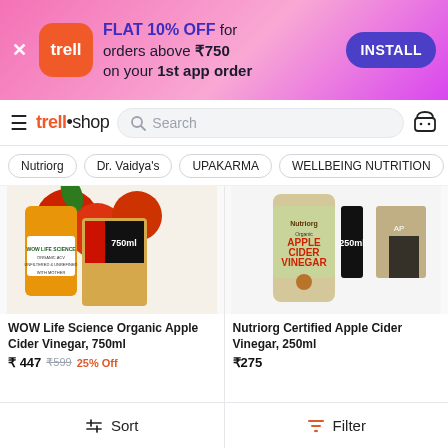[Figure (screenshot): Trell shop app install banner with pink gradient background, Trell orange rounded icon, text 'FLAT 10% OFF for orders above ₹750 on your 1st app order', and INSTALL button]
trell • shop  Search
Nutriorg
Dr. Vaidya's
UPAKARMA
WELLBEING NUTRITION
[Figure (photo): WOW Life Science Organic Apple Cider Vinegar 750ml product image showing apple cider vinegar bottle with apples]
WOW Life Science Organic Apple Cider Vinegar, 750ml
₹ 447  ₹599  25% Off
[Figure (photo): Nutriorg Certified Apple Cider Vinegar 250ml product image showing bottle with apple cider label]
Nutriorg Certified Apple Cider Vinegar, 250ml
₹275
Sort   Filter